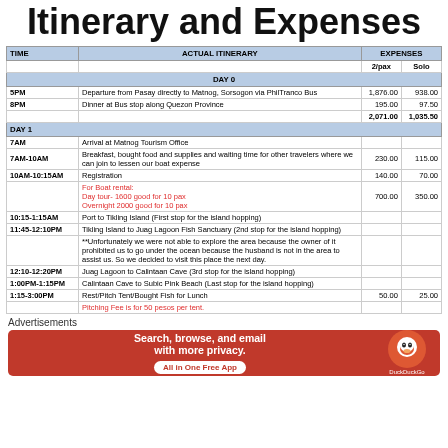Itinerary and Expenses
| TIME | ACTUAL ITINERARY | EXPENSES 2/pax | EXPENSES Solo |
| --- | --- | --- | --- |
|  |  | 2/pax | Solo |
| DAY 0 |  |  |  |
| 5PM | Departure from Pasay directly to Matnog, Sorsogon via PhilTranco Bus | 1,876.00 | 938.00 |
| 8PM | Dinner at Bus stop along Quezon Province | 195.00 | 97.50 |
|  |  | 2,071.00 | 1,035.50 |
| DAY 1 |  |  |  |
| 7AM | Arrival at Matnog Tourism Office |  |  |
| 7AM-10AM | Breakfast, bought food and supplies and waiting time for other travelers where we can join to lessen our boat expense | 230.00 | 115.00 |
| 10AM-10:15AM | Registration | 140.00 | 70.00 |
|  | For Boat rental: Day tour- 1600 good for 10 pax / Overnight 2000 good for 10 pax | 700.00 | 350.00 |
| 10:15-1:15AM | Port to Tikling Island (First stop for the island hopping) |  |  |
| 11:45-12:10PM | Tikling Island to Juag Lagoon Fish Sanctuary (2nd stop for the island hopping) |  |  |
|  | **Unfortunately we were not able to explore the area because the owner of it prohibited us to go under the ocean because the husband is not in the area to assist us. So we decided to visit this place the next day. |  |  |
| 12:10-12:20PM | Juag Lagoon to Calintaan Cave (3rd stop for the island hopping) |  |  |
| 1:00PM-1:15PM | Calintaan Cave to Subic Pink Beach (Last stop for the island hopping) |  |  |
| 1:15-3:00PM | Rest/Pitch Tent/Bought Fish for Lunch | 50.00 | 25.00 |
|  | Pitching Fee is for 50 pesos per tent. |  |  |
Advertisements
[Figure (infographic): DuckDuckGo advertisement banner: Search, browse, and email with more privacy. All in One Free App. Red background with DuckDuckGo logo.]